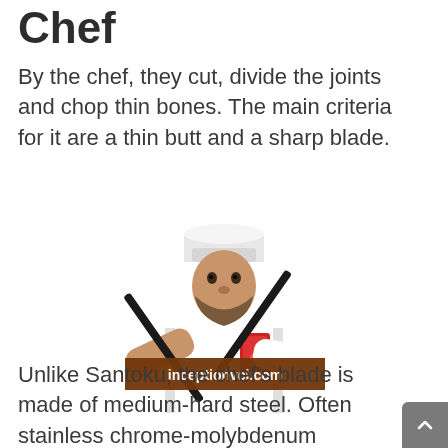Chef
By the chef, they cut, divide the joints and chop thin bones. The main criteria for it are a thin butt and a sharp blade.
[Figure (photo): A chef in white uniform holding two large knives crossed in front of him, with a watermark 'inceptionvci.com' overlaid on the image.]
Unlike Santoku, the chef's blade is made of medium-hard steel. Often stainless chrome-molybdenum vanadium, carbon steel, or zirconium ceramics. It does not rust, but requires frequent tweaking. Such a knife